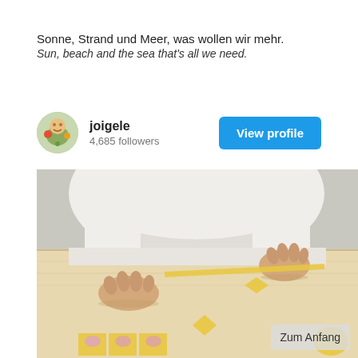Sonne, Strand und Meer, was wollen wir mehr.
Sun, beach and the sea that's all we need.
joigele
4,685 followers
View profile
[Figure (photo): Person in white apron working with pasta dough on a wooden cutting board, hands visible forming small pasta pieces]
Zum Anfang